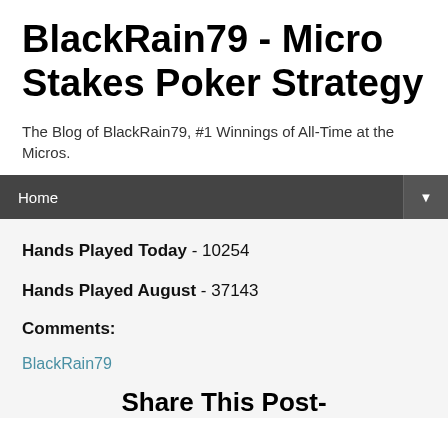BlackRain79 - Micro Stakes Poker Strategy
The Blog of BlackRain79, #1 Winnings of All-Time at the Micros.
Home ▼
Hands Played Today - 10254
Hands Played August - 37143
Comments:
BlackRain79
Share This Post-